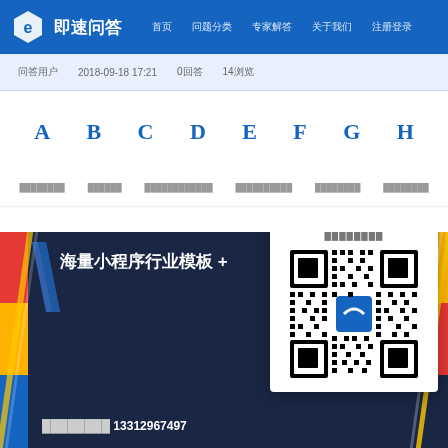即速问答 navigation bar with logo and menu items
问答用户  2018-09-18 17:21  0回答  14浏览
A  B  C  D  E  F  G  H
category items row
[Figure (screenshot): Promotional banner for mini-program industry templates with QR code popup overlay, showing contact number 13312967497]